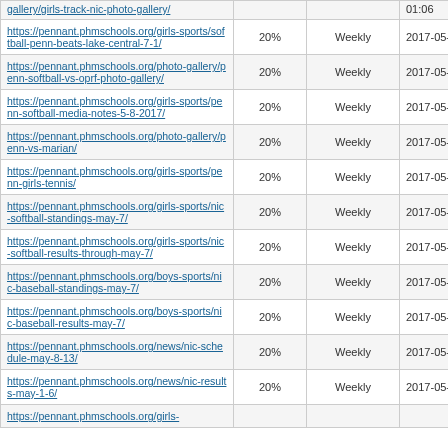| URL | Priority | Change Frequency | Last Modified |
| --- | --- | --- | --- |
| gallery/girls-track-nic-photo-gallery/ |  |  | 01:06 |
| https://pennant.phmschools.org/girls-sports/softball-penn-beats-lake-central-7-1/ | 20% | Weekly | 2017-05-09 11:13 |
| https://pennant.phmschools.org/photo-gallery/penn-softball-vs-oprf-photo-gallery/ | 20% | Weekly | 2017-05-09 11:17 |
| https://pennant.phmschools.org/girls-sports/penn-softball-media-notes-5-8-2017/ | 20% | Weekly | 2017-05-08 20:36 |
| https://pennant.phmschools.org/photo-gallery/penn-vs-marian/ | 20% | Weekly | 2017-05-08 20:54 |
| https://pennant.phmschools.org/girls-sports/penn-girls-tennis/ | 20% | Weekly | 2017-05-07 23:59 |
| https://pennant.phmschools.org/girls-sports/nic-softball-standings-may-7/ | 20% | Weekly | 2017-05-07 21:14 |
| https://pennant.phmschools.org/girls-sports/nic-softball-results-through-may-7/ | 20% | Weekly | 2017-05-07 21:12 |
| https://pennant.phmschools.org/boys-sports/nic-baseball-standings-may-7/ | 20% | Weekly | 2017-05-07 21:05 |
| https://pennant.phmschools.org/boys-sports/nic-baseball-results-may-7/ | 20% | Weekly | 2017-05-07 21:02 |
| https://pennant.phmschools.org/news/nic-schedule-may-8-13/ | 20% | Weekly | 2017-05-07 20:59 |
| https://pennant.phmschools.org/news/nic-results-may-1-6/ | 20% | Weekly | 2017-05-07 20:50 |
| https://pennant.phmschools.org/girls- |  |  |  |